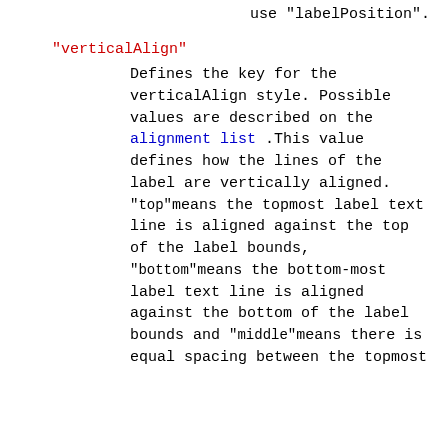use "labelPosition".
"verticalAlign"
Defines the key for the verticalAlign style. Possible values are described on the alignment list .This value defines how the lines of the label are vertically aligned. "top" means the topmost label text line is aligned against the top of the label bounds, "bottom" means the bottom-most label text line is aligned against the bottom of the label bounds and "middle" means there is equal spacing between the topmost text line and the...